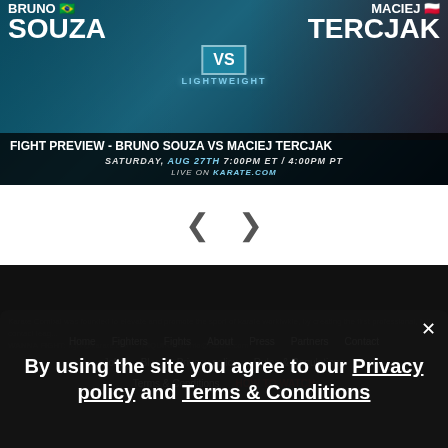[Figure (screenshot): Fight preview banner showing Bruno Souza vs Maciej Tercjak lightweight fight. Teal/blue background with fighters. Text overlay: FIGHT PREVIEW - Bruno Souza vs Maciej Tercjak, SATURDAY, AUG 27TH 7:00PM ET / 4:00PM PT, LIVE ON KARATE.COM]
[Figure (other): Carousel navigation arrows left and right]
Home  Fighters  Fights  About  Press  Partners  Contact  Jobs  Blog  Privacy policy  Rules & Regulations  Terms & Conditions  HOW TO WATCH
By using the site you agree to our Privacy policy and Terms & Conditions